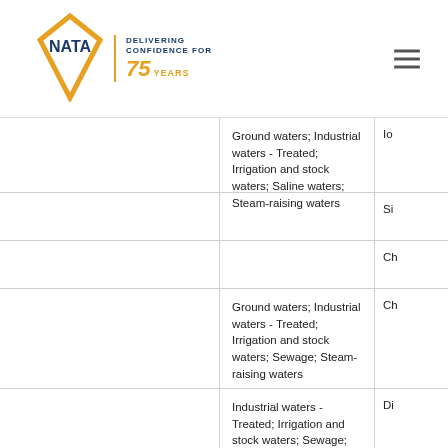NATA – Delivering Confidence for 75 Years
|  | Sample Types / Matrices | Method/Analyte |
| --- | --- | --- |
|  | Ground waters; Industrial waters - Treated; Irrigation and stock waters; Saline waters; Steam-raising waters | Io |
|  |  | Si |
|  |  | Ch |
|  | Ground waters; Industrial waters - Treated; Irrigation and stock waters; Sewage; Steam-raising waters | Ch |
|  | Industrial waters - Treated; Irrigation and stock waters; Sewage; Steam-raising waters | Di |
|  |  |  |